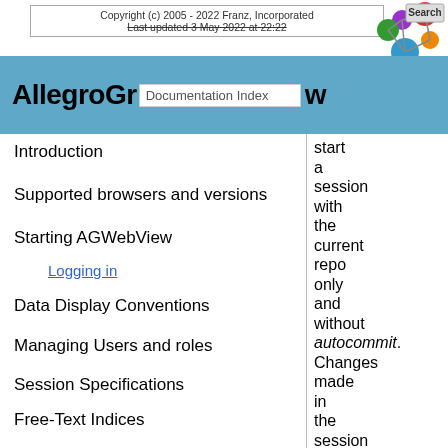Copyright (c) 2005 - 2022 Franz, Incorporated
Last updated 3 May 2022 at 22:22
AllegroGraph Documentation Index w
Introduction
Supported browsers and versions
Starting AGWebView
Logging in
Data Display Conventions
Managing Users and roles
Session Specifications
Free-Text Indices
WebView User Interface
Documentation Index
start a session with the current repo only and without autocommit. Changes made in the session